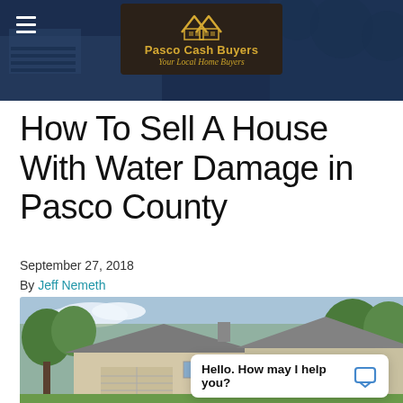Pasco Cash Buyers — Your Local Home Buyers
How To Sell A House With Water Damage in Pasco County
September 27, 2018
By Jeff Nemeth
[Figure (photo): Photo of a suburban ranch-style house with gray roof and beige siding, surrounded by trees]
Hello. How may I help you?